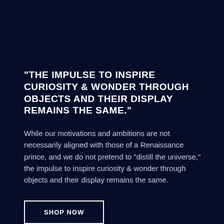“THE IMPULSE TO INSPIRE CURIOSITY & WONDER THROUGH OBJECTS AND THEIR DISPLAY REMAINS THE SAME.”
While our motivations and ambitions are not necessarily aligned with those of a Renaissance prince, and we do not pretend to “distill the universe,” the impulse to inspire curiosity & wonder through objects and their display remains the same.
SHOP NOW